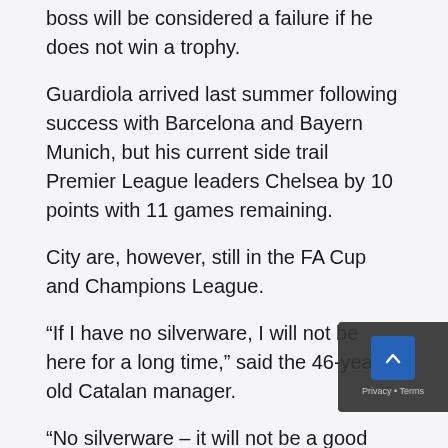boss will be considered a failure if he does not win a trophy.
Guardiola arrived last summer following success with Barcelona and Bayern Munich, but his current side trail Premier League leaders Chelsea by 10 points with 11 games remaining.
City are, however, still in the FA Cup and Champions League.
“If I have no silverware, I will not be here for a long time,” said the 46-year-old Catalan manager.
“No silverware – it will not be a good season,” Guardiola added. “I knew that in August. Being a manager depends on results.
“I know what my standard was in the past and I kno what is on my shoulders. I have to handle that.